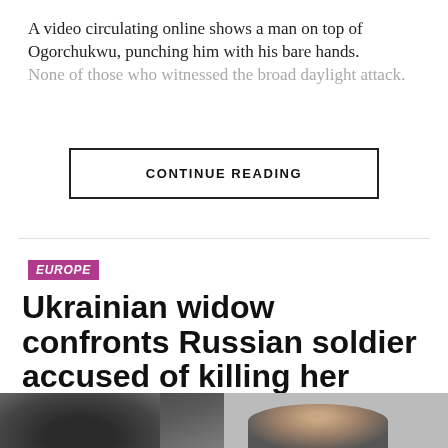A video circulating online shows a man on top of Ogorchukwu, punching him with his bare hands.
None of those who witnessed the broad daylight attack.
CONTINUE READING
EUROPE
Ukrainian widow confronts Russian soldier accused of killing her husband
[Figure (photo): Photo of two people, likely a Ukrainian woman and a Russian soldier in a courtroom or confrontation setting]